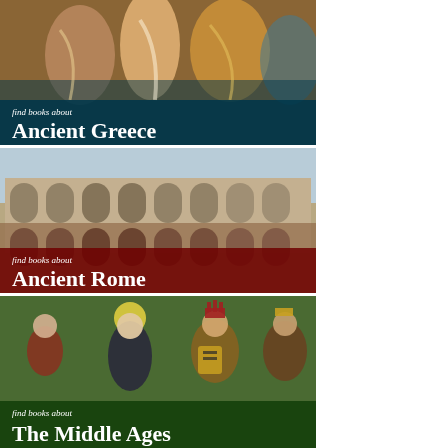[Figure (illustration): Banner image of classical painting showing ancient Greek figures in robes, with overlay text 'find books about Ancient Greece']
[Figure (illustration): Banner image of the Roman Colosseum photograph, with overlay text 'find books about Ancient Rome']
[Figure (illustration): Banner image of a medieval painting with religious figures and royalty, with overlay text 'find books about The Middle Ages']